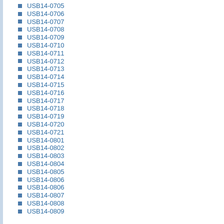USB14-0705
USB14-0706
USB14-0707
USB14-0708
USB14-0709
USB14-0710
USB14-0711
USB14-0712
USB14-0713
USB14-0714
USB14-0715
USB14-0716
USB14-0717
USB14-0718
USB14-0719
USB14-0720
USB14-0721
USB14-0801
USB14-0802
USB14-0803
USB14-0804
USB14-0805
USB14-0806
USB14-0806
USB14-0807
USB14-0808
USB14-0809